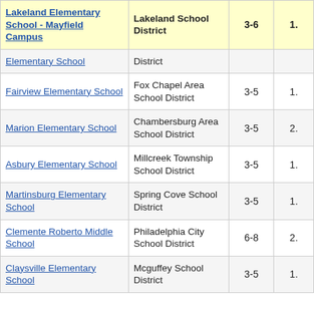| School | District | Grades |  |
| --- | --- | --- | --- |
| Lakeland Elementary School - Mayfield Campus | Lakeland School District | 3-6 | 1. |
| Elementary School | District |  |  |
| Fairview Elementary School | Fox Chapel Area School District | 3-5 | 1. |
| Marion Elementary School | Chambersburg Area School District | 3-5 | 2. |
| Asbury Elementary School | Millcreek Township School District | 3-5 | 1. |
| Martinsburg Elementary School | Spring Cove School District | 3-5 | 1. |
| Clemente Roberto Middle School | Philadelphia City School District | 6-8 | 2. |
| Claysville Elementary School | Mcguffey School District | 3-5 | 1. |